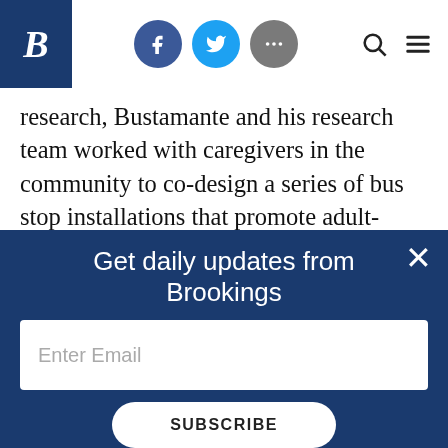Brookings Institution - navigation header with logo, social icons, search and menu
research, Bustamante and his research team worked with caregivers in the community to co-design a series of bus stop installations that promote adult-child interactions. For example, the Lotería bus stop is based on a game that community members play with their children and provides opportunities to learn about shapes, colors, numbers, and iconic figures in the community.
Get daily updates from Brookings
Enter Email
SUBSCRIBE